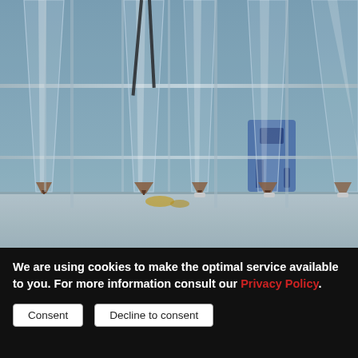[Figure (photo): Laboratory photograph showing multiple transparent conical/Imhoff settling tubes in a rack. The tubes are tall and narrow, tapering to a point at the bottom. Several tubes show a small amount of brown/reddish sediment settled at the tip. Background shows lab equipment including what appears to be a blue pump or instrument. The setting appears to be a water or environmental testing laboratory.]
We are using cookies to make the optimal service available to you. For more information consult our Privacy Policy.
Consent
Decline to consent